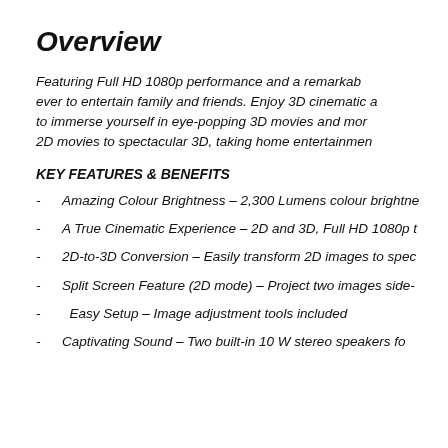Overview
Featuring Full HD 1080p performance and a remarkable ever to entertain family and friends. Enjoy 3D cinematic a to immerse yourself in eye-popping 3D movies and mor 2D movies to spectacular 3D, taking home entertainmen
KEY FEATURES & BENEFITS
Amazing Colour Brightness – 2,300 Lumens colour brightne
A True Cinematic Experience – 2D and 3D, Full HD 1080p t
2D-to-3D Conversion – Easily transform 2D images to spec
Split Screen Feature (2D mode) – Project two images side-
Easy Setup – Image adjustment tools included
Captivating Sound – Two built-in 10 W stereo speakers fo